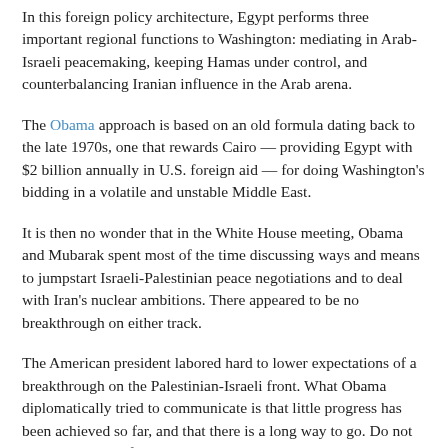In this foreign policy architecture, Egypt performs three important regional functions to Washington: mediating in Arab-Israeli peacemaking, keeping Hamas under control, and counterbalancing Iranian influence in the Arab arena.
The Obama approach is based on an old formula dating back to the late 1970s, one that rewards Cairo — providing Egypt with $2 billion annually in U.S. foreign aid — for doing Washington's bidding in a volatile and unstable Middle East.
It is then no wonder that in the White House meeting, Obama and Mubarak spent most of the time discussing ways and means to jumpstart Israeli-Palestinian peace negotiations and to deal with Iran's nuclear ambitions. There appeared to be no breakthrough on either track.
The American president labored hard to lower expectations of a breakthrough on the Palestinian-Israeli front. What Obama diplomatically tried to communicate is that little progress has been achieved so far, and that there is a long way to go. Do not hold your breath for an American peace plan yet.
Despite being urged by human rights groups to seek guarantees from President Mubarak about making progress...